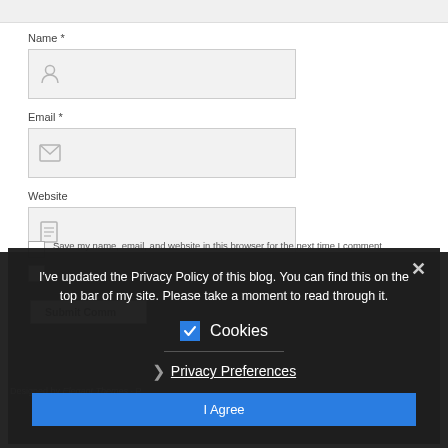Name *
[Figure (screenshot): Name input field with person icon]
Email *
[Figure (screenshot): Email input field with envelope icon]
Website
[Figure (screenshot): Website input field with document icon]
Save my name, email, and website in this browser for the next time I comment.
Submit Comment
I've updated the Privacy Policy of this blog. You can find this on the top bar of my site. Please take a moment to read through it.
Cookies
Privacy Preferences
I Agree
Designed by Elegant Themes · P…